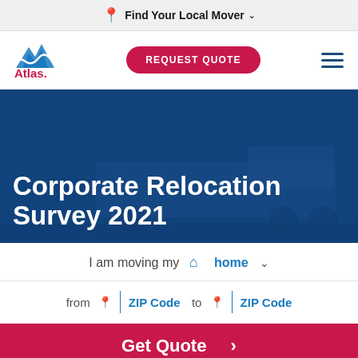Find Your Local Mover
[Figure (logo): Atlas Van Lines logo with blue mountain/wave icon and red 'Atlas.' text]
REQUEST QUOTE
Corporate Relocation Survey 2021
I am moving my home
from ZIP Code to ZIP Code
Get Quote